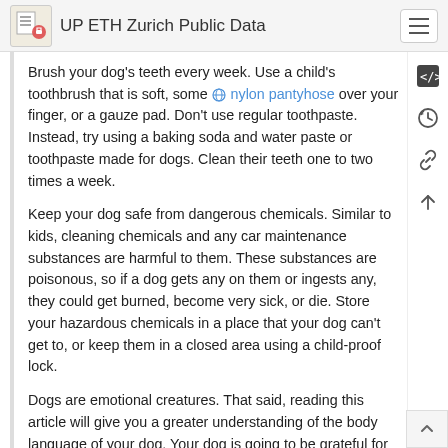UP ETH Zurich Public Data
Brush your dog's teeth every week. Use a child's toothbrush that is soft, some 🌐 nylon pantyhose over your finger, or a gauze pad. Don't use regular toothpaste. Instead, try using a baking soda and water paste or toothpaste made for dogs. Clean their teeth one to two times a week.
Keep your dog safe from dangerous chemicals. Similar to kids, cleaning chemicals and any car maintenance substances are harmful to them. These substances are poisonous, so if a dog gets any on them or ingests any, they could get burned, become very sick, or die. Store your hazardous chemicals in a place that your dog can't get to, or keep them in a closed area using a child-proof lock.
Dogs are emotional creatures. That said, reading this article will give you a greater understanding of the body language of your dog. Your dog is going to be grateful for that. 🌐 external page Great Solutions For Dogs That Anyone Can Follow